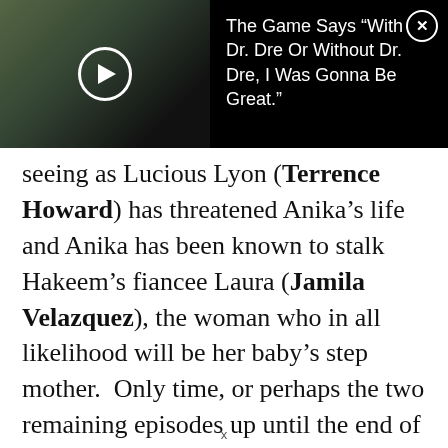[Figure (screenshot): Video thumbnail showing a person partially visible near a doorway or building exterior, with a circular play button overlay. Dark background. To the right of the thumbnail is white text on black: 'The Game Says “With Dr. Dre Or Without Dr. Dre, I Was Gonna Be Great.”' with a circular X close button in the top-right corner.]
seeing as Lucious Lyon (Terrence Howard) has threatened Anika’s life and Anika has been known to stalk Hakeem’s fiancee Laura (Jamila Velazquez), the woman who in all likelihood will be her baby’s step mother.  Only time, or perhaps the two remaining episodes up until the end of season 2, will tell.